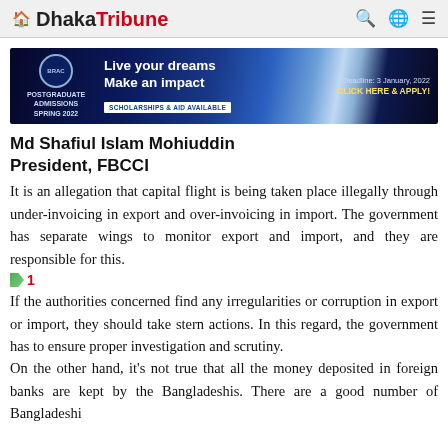Dhaka Tribune
[Figure (infographic): BRAC University Postgraduate Admissions Spring 2022 advertisement banner. Text: POSTGRADUATE ADMISSIONS SPRING 2022, Live your dreams Make an impact, SCHOLARSHIPS & AID AVAILABLE, Deadline: 3 January, 2022, CLICK HERE & APPLY!]
Md Shafiul Islam Mohiuddin
President, FBCCI
It is an allegation that capital flight is being taken place illegally through under-invoicing in export and over-invoicing in import. The government has separate wings to monitor export and import, and they are responsible for this.
1
If the authorities concerned find any irregularities or corruption in export or import, they should take stern actions. In this regard, the government has to ensure proper investigation and scrutiny.
On the other hand, it's not true that all the money deposited in foreign banks are kept by the Bangladeshis. There are a good number of Bangladeshi